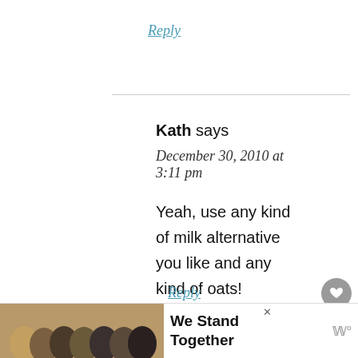Reply
Kath says
December 30, 2010 at 3:11 pm
Yeah, use any kind of milk alternative you like and any kind of oats!
Reply
[Figure (other): Ad banner: group of people with arms around each other, text 'We Stand Together' with a close button and brand logo]
We Stand Together